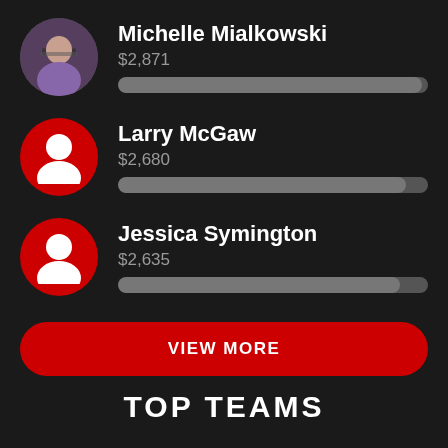Michelle Mialkowski
$2,871
Larry McGaw
$2,680
Jessica Symington
$2,635
VIEW MORE
TOP TEAMS